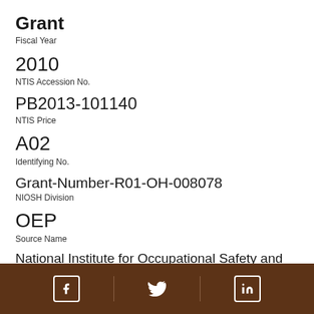Grant
Fiscal Year
2010
NTIS Accession No.
PB2013-101140
NTIS Price
A02
Identifying No.
Grant-Number-R01-OH-008078
NIOSH Division
OEP
Source Name
National Institute for Occupational Safety and Health
State
Social media icons: Facebook, Twitter, LinkedIn